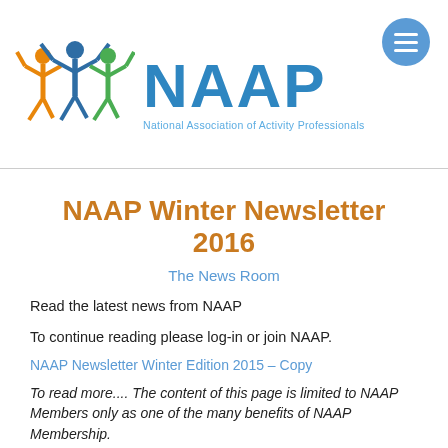[Figure (logo): NAAP logo with three figures (orange, blue, green) and NAAP text in blue with 'National Association of Activity Professionals' subtitle in teal]
NAAP Winter Newsletter 2016
The News Room
Read the latest news from NAAP
To continue reading please log-in or join NAAP.
NAAP Newsletter Winter Edition 2015 – Copy
To read more.... The content of this page is limited to NAAP Members only as one of the many benefits of NAAP Membership.
If you would like to...